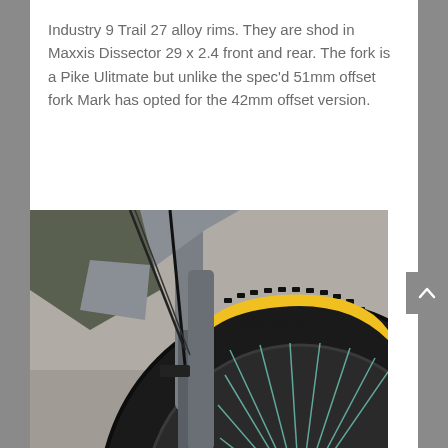Industry 9 Trail 27 alloy rims. They are shod in Maxxis Dissector 29 x 2.4 front and rear. The fork is a Pike Ulitmate but unlike the spec'd 51mm offset fork Mark has opted for the 42mm offset version.
[Figure (photo): Close-up photo of a mountain bike front wheel and fork assembly, showing a Maxxis tire (with yellow MAXXIS lettering) mounted on a dark rim with teal/green spokes, and a gray suspension fork.]